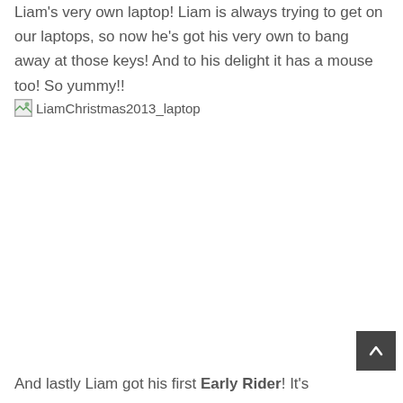Liam's very own laptop! Liam is always trying to get on our laptops, so now he's got his very own to bang away at those keys! And to his delight it has a mouse too! So yummy!!
[Figure (photo): Broken image placeholder labeled LiamChristmas2013_laptop]
And lastly Liam got his first Early Rider! It's